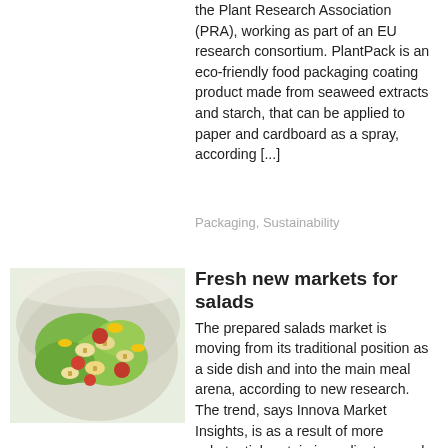the Plant Research Association (PRA), working as part of an EU research consortium. PlantPack is an eco-friendly food packaging coating product made from seaweed extracts and starch, that can be applied to paper and cardboard as a spray, according [...]
Packaging, Sustainability
[Figure (photo): A bowl of prepared pasta salad with colorful vegetables including tomatoes, corn, green leaves and bowtie pasta shapes.]
Fresh new markets for salads
The prepared salads market is moving from its traditional position as a side dish and into the main meal arena, according to new research. The trend, says Innova Market Insights, is as a result of more substantial protein ingredients – such as poultry or fish – and a wider range of convenient packaging formats.